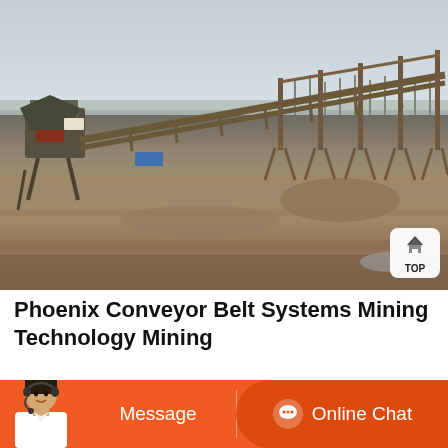[Figure (photo): Outdoor photograph of a large industrial conveyor belt system / mining equipment on a flat site with sparse trees and dry grassland in the background under an overcast sky.]
Phoenix Conveyor Belt Systems Mining Technology Mining
[Figure (other): Orange bottom bar with customer service avatar (woman with headset), 'Message' button on the left and 'Online Chat' button with chat icon on the right.]